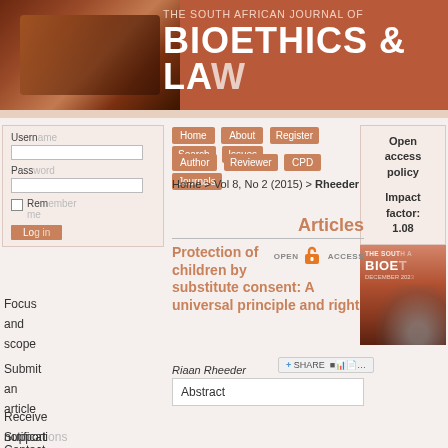[Figure (illustration): The South African Journal of Bioethics & Law banner with gavel/law image on the left and text on terracotta/brown background]
Username
Password
Remember me
Log in
Open access policy
Impact factor: 1.08
Home
About
Register
Search
Issues
Author
Reviewer
CPD
Journals
Home > Vol 8, No 2 (2015) > Rheeder
Articles
Protection of children by substitute consent: A universal principle and right
Riaan Rheeder
Abstract
Focus and scope
Submit an article
Receive notifications
Support
Contact